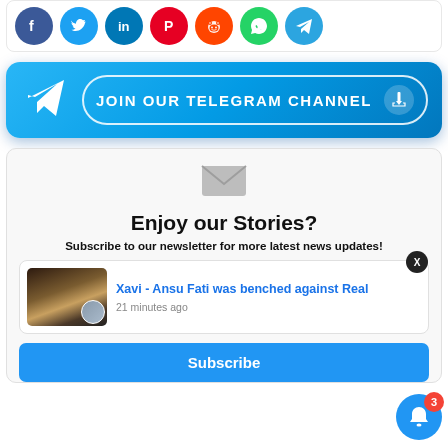[Figure (infographic): Row of social media sharing buttons: Facebook (blue), Twitter (light blue), LinkedIn (dark blue), Pinterest (red), Reddit (orange-red), WhatsApp (green), Telegram (blue) — all circular icons]
[Figure (infographic): Blue gradient Telegram channel join banner with paper plane icon and 'JOIN OUR TELEGRAM CHANNEL' text in a bordered pill, with hand cursor icon on the right]
[Figure (infographic): Envelope icon (grey)]
Enjoy our Stories?
Subscribe to our newsletter for more latest news updates!
[Figure (infographic): Article preview card: image of footballer Ansu Fati (dark-skinned young player in yellow jersey) with a smaller inset image, next to blue link text 'Xavi - Ansu Fati was benched against Real' and timestamp '21 minutes ago']
Subscribe
[Figure (infographic): Blue notification bell icon with red badge showing '3', and a dark circular X close button nearby]